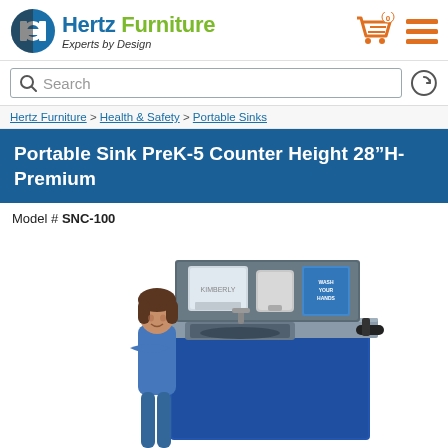[Figure (logo): Hertz Furniture logo with circular icon and tagline 'Experts by Design']
[Figure (screenshot): Shopping cart icon with orange '0' badge and hamburger menu icon in orange]
[Figure (screenshot): Search bar with magnifying glass icon and history icon]
Hertz Furniture > Health & Safety > Portable Sinks
Portable Sink PreK-5 Counter Height 28"H-Premium
Model # SNC-100
[Figure (photo): A child standing next to a portable sink station with paper towel dispenser, soap dispenser, and 'Wash Your Hands' sign on a blue cabinet.]